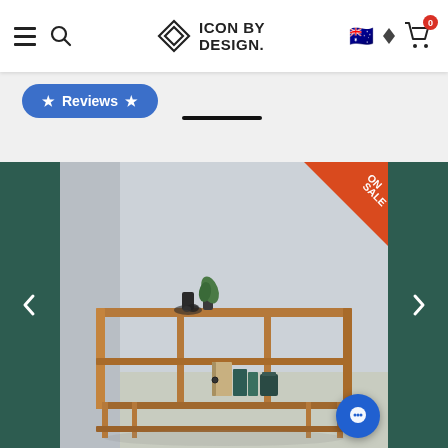Icon By Design — navigation bar with hamburger menu, search, logo, Australian flag, cart (0 items)
★ Reviews ★
[Figure (photo): A low wooden shelving unit / bookcase with two shelves, displayed in a minimal room setting with light grey walls. Items on the shelves include a small plant in a dark vase, a beige binder/folder, teal books, and dark decorative objects. An 'ON SALE' corner badge appears in the top right of the image.]